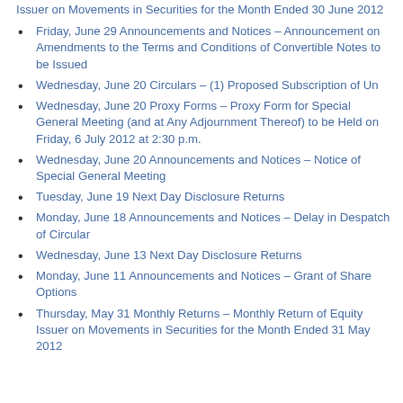Issuer on Movements in Securities for the Month Ended 30 June 2012
Friday, June 29 Announcements and Notices – Announcement on Amendments to the Terms and Conditions of Convertible Notes to be Issued
Wednesday, June 20 Circulars – (1) Proposed Subscription of Un
Wednesday, June 20 Proxy Forms – Proxy Form for Special General Meeting (and at Any Adjournment Thereof) to be Held on Friday, 6 July 2012 at 2:30 p.m.
Wednesday, June 20 Announcements and Notices – Notice of Special General Meeting
Tuesday, June 19 Next Day Disclosure Returns
Monday, June 18 Announcements and Notices – Delay in Despatch of Circular
Wednesday, June 13 Next Day Disclosure Returns
Monday, June 11 Announcements and Notices – Grant of Share Options
Thursday, May 31 Monthly Returns – Monthly Return of Equity Issuer on Movements in Securities for the Month Ended 31 May 2012